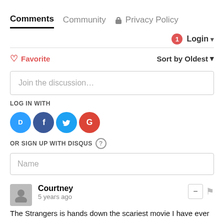Comments  Community  Privacy Policy
Login ▾
♡ Favorite    Sort by Oldest ▾
Join the discussion...
LOG IN WITH
[Figure (infographic): Social login icons: Disqus (blue), Facebook (dark blue), Twitter (light blue), Google (red)]
OR SIGN UP WITH DISQUS ?
Name
Courtney
5 years ago
The Strangers is hands down the scariest movie I have ever